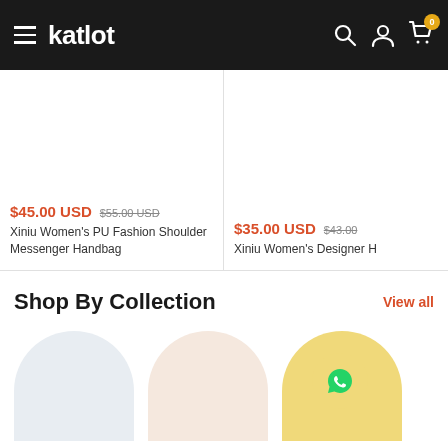katlot — navigation bar with hamburger menu, logo, search, account, and cart icons
$45.00 USD  $55.00 USD  Xiniu Women's PU Fashion Shoulder Messenger Handbag
$35.00 USD  $43.00  Xiniu Women's Designer H
Shop By Collection
View all
[Figure (illustration): Three collection category circles (blue-grey, peach, gold) below 'Shop By Collection' heading]